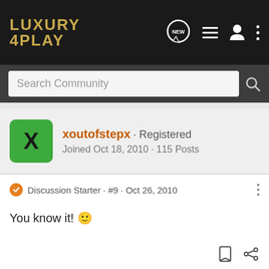Luxury 4Play
Search Community
xoutofstepx · Registered
Joined Oct 18, 2010 · 115 Posts
Discussion Starter · #9 · Oct 26, 2010
You know it! 🙂